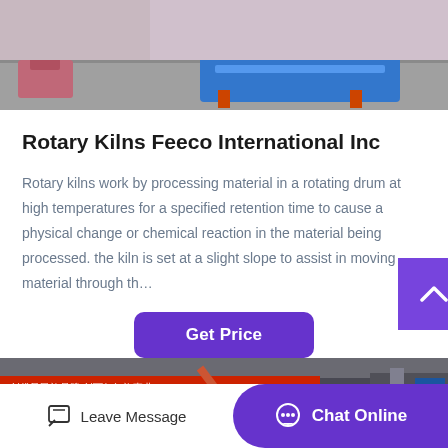[Figure (photo): Top portion of an industrial scene with a blue metal cart/pallet on a concrete floor, pink/red industrial parts visible]
Rotary Kilns Feeco International Inc
Rotary kilns work by processing material in a rotating drum at high temperatures for a specified retention time to cause a physical change or chemical reaction in the material being processed. the kiln is set at a slight slope to assist in moving material through th…
[Figure (other): Get Price button — purple rounded rectangle button]
[Figure (photo): Bottom industrial building scene with Chinese signage banners in red and blue, factory structures visible]
Leave Message
Chat Online